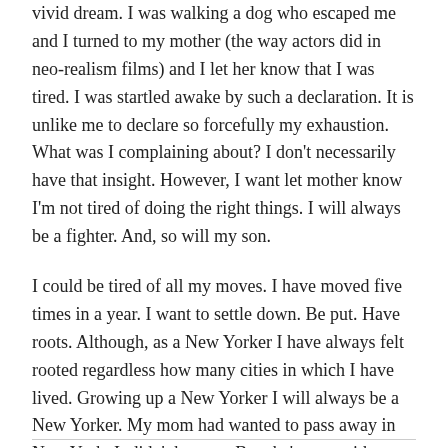vivid dream. I was walking a dog who escaped me and I turned to my mother (the way actors did in neo-realism films) and I let her know that I was tired. I was startled awake by such a declaration. It is unlike me to declare so forcefully my exhaustion. What was I complaining about? I don't necessarily have that insight. However, I want let mother know I'm not tired of doing the right things. I will always be a fighter. And, so will my son.
I could be tired of all my moves. I have moved five times in a year. I want to settle down. Be put. Have roots. Although, as a New Yorker I have always felt rooted regardless how many cities in which I have lived. Growing up a New Yorker I will always be a New Yorker. My mom had wanted to pass away in New York. It didn't happen. But she's now with me here. And, I will never tire of carrying her with me.